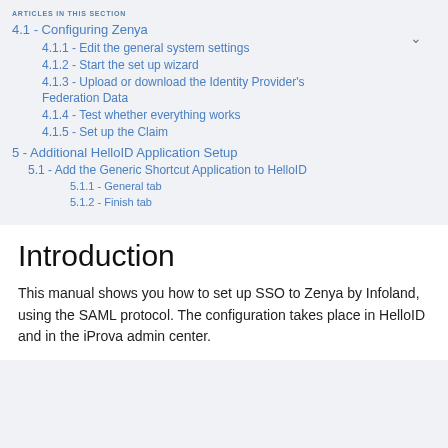ARTICLES IN THIS SECTION
4.1 - Configuring Zenya
4.1.1 - Edit the general system settings
4.1.2 - Start the set up wizard
4.1.3 - Upload or download the Identity Provider's Federation Data
4.1.4 - Test whether everything works
4.1.5 - Set up the Claim
5 - Additional HelloID Application Setup
5.1 - Add the Generic Shortcut Application to HelloID
5.1.1 - General tab
5.1.2 - Finish tab
Introduction
This manual shows you how to set up SSO to Zenya by Infoland, using the SAML protocol. The configuration takes place in HelloID and in the iProva admin center.